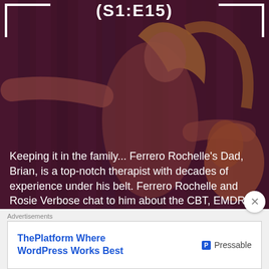(S1:E15)
[Figure (photo): Background photo of a woman with blonde hair performing, with purple/dark curtain backdrop. Dark reddish-brown overlay tint.]
Keeping it in the family... Ferrero Rochelle's Dad, Brian, is a top-notch therapist with decades of experience under his belt. Ferrero Rochelle and Rosie Verbose chat to him about the CBT, EMDR, life as a therapist, mental health medication, working in a high-security mental health hospital, and how to get the most out of your therapy experience.
Advertisements
[Figure (screenshot): Advertisement banner: 'ThePlatform Where WordPress Works Best' with Pressable logo on the right.]